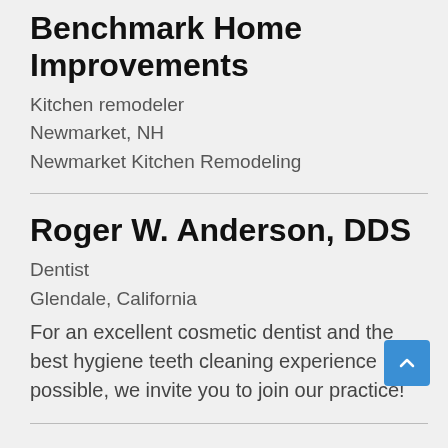Benchmark Home Improvements
Kitchen remodeler
Newmarket, NH
Newmarket Kitchen Remodeling
Roger W. Anderson, DDS
Dentist
Glendale, California
For an excellent cosmetic dentist and the best hygiene teeth cleaning experience possible, we invite you to join our practice!
Frontier Safety Supplies